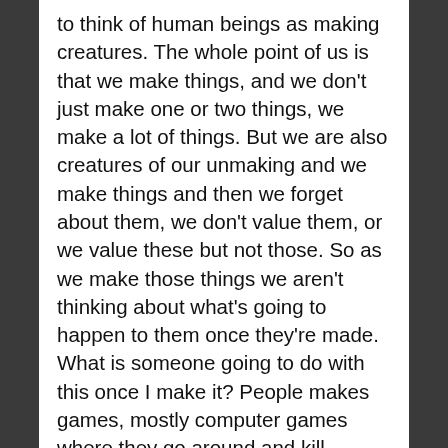to think of human beings as making creatures. The whole point of us is that we make things, and we don't just make one or two things, we make a lot of things. But we are also creatures of our unmaking and we make things and then we forget about them, we don't value them, or we value these but not those. So as we make those things we aren't thinking about what's going to happen to them once they're made. What is someone going to do with this once I make it? People makes games, mostly computer games where they go around and kill women or black people and they just put it out there to make a bunch of money not realizing that the thing that they made has a life beyond their hands, and there's an ethical issue involved here in the production of the things we make. How we make them, and take care of them —how we husband them—how we disseminate